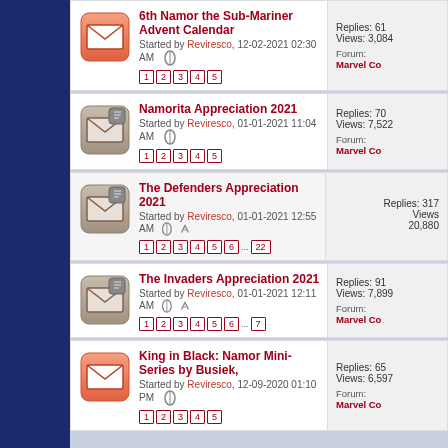6th Namor the Sub-Mariner Advent Calendar
Started by Reviresco, 12-02-2021 02:30 AM
Pages: 1 2 3 4 5
Replies: 61, Views: 3,084
Forum: Marvel Co
Namorita Appreciation 2021
Started by Reviresco, 01-01-2021 11:04 AM
Pages: 1 2 3 4 5
Replies: 70, Views: 7,522
Forum: Marvel Co
The Defenders Appreciation 2021
Started by Reviresco, 01-01-2021 12:55 AM
Pages: 1 2 3 4 5 6 ... 22
Replies: 317, Views: 20,880
Forum: Marvel Co
The Invaders Appreciation 2021
Started by Reviresco, 01-01-2021 12:11 AM
Pages: 1 2 3 4 5 6 ... 7
Replies: 91, Views: 7,899
Forum: Marvel Co
King in Black: Namor Mini-Series by Busiek,
Started by Reviresco, 12-09-2020 01:10 PM
Pages: 1 2 3 4 5
Replies: 65, Views: 6,597
Forum: Marvel Co